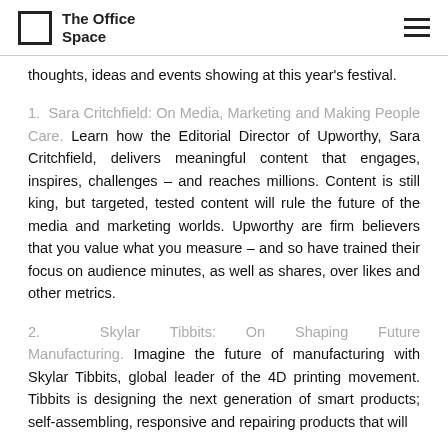The Office Space
thoughts, ideas and events showing at this year's festival.
1. Sara Critchfield: On Media, Marketing and Making People Care. Learn how the Editorial Director of Upworthy, Sara Critchfield, delivers meaningful content that engages, inspires, challenges – and reaches millions. Content is still king, but targeted, tested content will rule the future of the media and marketing worlds. Upworthy are firm believers that you value what you measure – and so have trained their focus on audience minutes, as well as shares, over likes and other metrics.
2. Skylar Tibbits: On Shaping Future Manufacturing. Imagine the future of manufacturing with Skylar Tibbits, global leader of the 4D printing movement. Tibbits is designing the next generation of smart products; self-assembling, responsive and repairing products that will